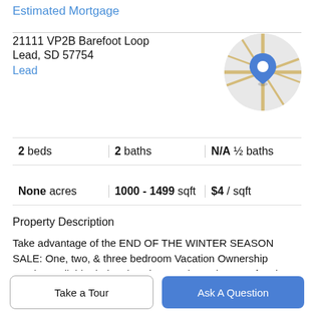Estimated Mortgage
21111 VP2B Barefoot Loop
Lead, SD 57754
Lead
[Figure (map): Circular map thumbnail with a blue location pin marker on a road map background]
| 2 beds | 2 baths | N/A ½ baths |
| None acres | 1000 - 1499 sqft | $4 / sqft |
Property Description
Take advantage of the END OF THE WINTER SEASON SALE: One, two, & three bedroom Vacation Ownership Weeks available during the winter. Enjoy going Barefoot in your furnished condo and soaking in the hot tub, minutes from all the snow action. Directly across from Terry Peak
Take a Tour
Ask A Question